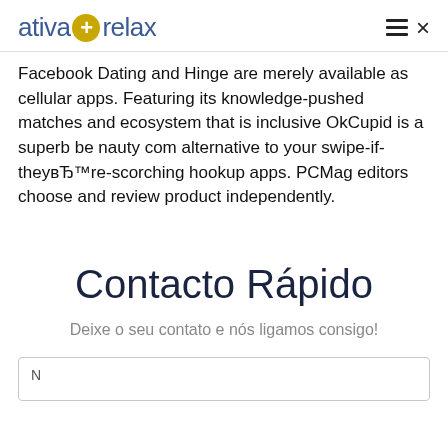ativa+relax
Facebook Dating and Hinge are merely available as cellular apps. Featuring its knowledge-pushed matches and ecosystem that is inclusive OkCupid is a superb be nauty com alternative to your swipe-if-theyвЂ™re-scorching hookup apps. PCMag editors choose and review product independently.
Contacto Rápido
Deixe o seu contato e nós ligamos consigo!
N